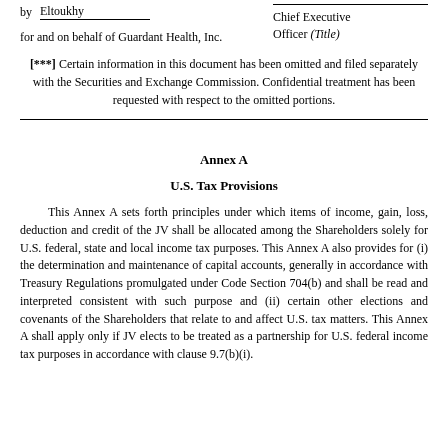by   Eltoukhy
Chief Executive Officer (Title)
for and on behalf of Guardant Health, Inc.
[***] Certain information in this document has been omitted and filed separately with the Securities and Exchange Commission. Confidential treatment has been requested with respect to the omitted portions.
Annex A
U.S. Tax Provisions
This Annex A sets forth principles under which items of income, gain, loss, deduction and credit of the JV shall be allocated among the Shareholders solely for U.S. federal, state and local income tax purposes. This Annex A also provides for (i) the determination and maintenance of capital accounts, generally in accordance with Treasury Regulations promulgated under Code Section 704(b) and shall be read and interpreted consistent with such purpose and (ii) certain other elections and covenants of the Shareholders that relate to and affect U.S. tax matters. This Annex A shall apply only if JV elects to be treated as a partnership for U.S. federal income tax purposes in accordance with clause 9.7(b)(i).